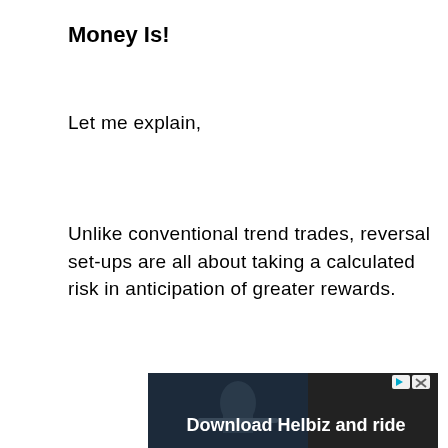Money Is!
Let me explain,
Unlike conventional trend trades, reversal set-ups are all about taking a calculated risk in anticipation of greater rewards.
[Figure (photo): Advertisement banner showing a person on a scooter/bike with text 'Download Helbiz and ride' and small play/close buttons in the top right corner.]